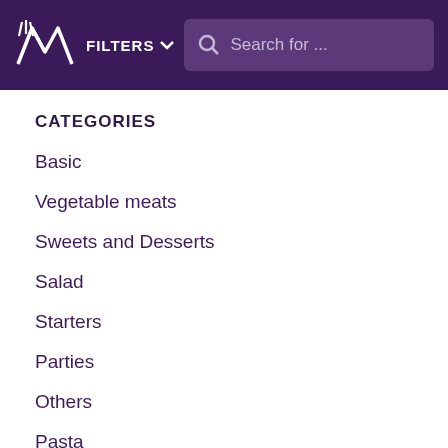FILTERS  Search for ...
CATEGORIES
Basic
Vegetable meats
Sweets and Desserts
Salad
Starters
Parties
Others
Pasta
Pate and spreads
Single plate